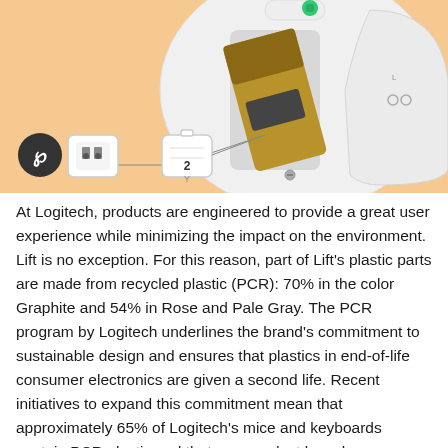[Figure (photo): Product photo of Logitech Lift mouse shown from the bottom, with battery compartment open revealing a AA battery, and icons showing Bluetooth and USB receiver connectivity options. Background is light peach/orange color.]
At Logitech, products are engineered to provide a great user experience while minimizing the impact on the environment. Lift is no exception. For this reason, part of Lift's plastic parts are made from recycled plastic (PCR): 70% in the color Graphite and 54% in Rose and Pale Gray. The PCR program by Logitech underlines the brand's commitment to sustainable design and ensures that plastics in end-of-life consumer electronics are given a second life. Recent initiatives to expand this commitment mean that approximately 65% of Logitech's mice and keyboards contain PCR plastic and that new product launches use PCR plastic wherever possible. All Logitech